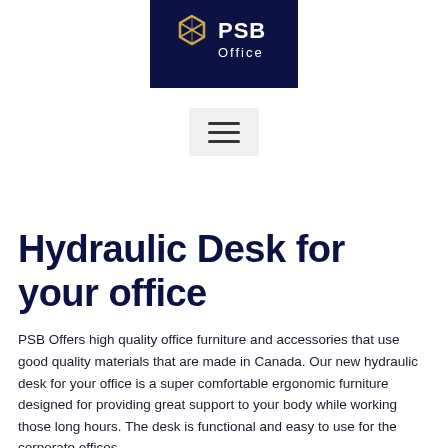[Figure (logo): PSB Office logo — dark navy background with gold geometric hexagon-like icon on the left, white bold text 'PSB' and smaller text 'Office' on the right]
[Figure (other): Hamburger menu icon — three horizontal lines on a light grey rounded rectangle background]
Hydraulic Desk for your office
PSB Offers high quality office furniture and accessories that use good quality materials that are made in Canada. Our new hydraulic desk for your office is a super comfortable ergonomic furniture designed for providing great support to your body while working those long hours. The desk is functional and easy to use for the corporate offices